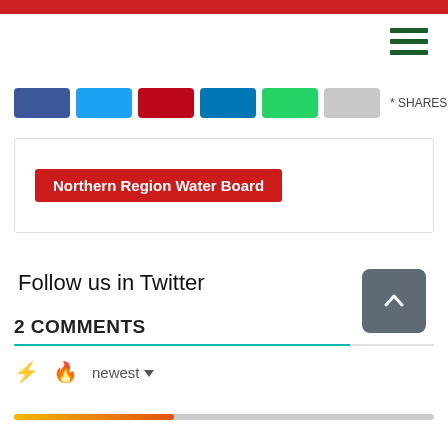[Figure (screenshot): Red top navigation bar]
[Figure (illustration): Hamburger menu icon with three green horizontal lines]
[Figure (illustration): Social share buttons row: Facebook (blue), Twitter (light blue), Pinterest (red), LinkedIn (dark blue), WhatsApp (green), More (grey), followed by '* SHARES' label]
[Figure (screenshot): Card with red tag button labeled 'Northern Region Water Board']
Follow us in Twitter
[Figure (illustration): Grey rounded scroll-to-top button with upward chevron]
2 COMMENTS
[Figure (illustration): Comments toolbar with bolt icon, fire icon, and 'newest' sort dropdown]
[Figure (illustration): Progress bar showing orange-yellow gradient fill on grey background]